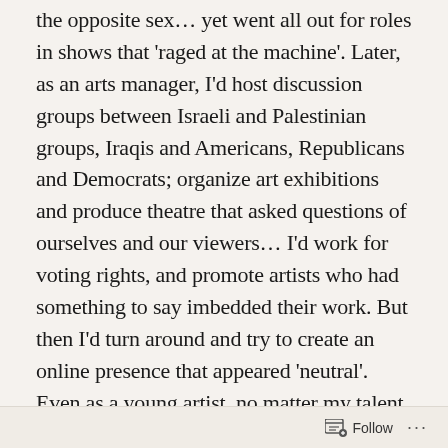the opposite sex… yet went all out for roles in shows that 'raged at the machine'. Later, as an arts manager, I'd host discussion groups between Israeli and Palestinian groups, Iraqis and Americans, Republicans and Democrats; organize art exhibitions and produce theatre that asked questions of ourselves and our viewers… I'd work for voting rights, and promote artists who had something to say imbedded their work. But then I'd turn around and try to create an online presence that appeared 'neutral'. Even as a young artist, no matter my talent or skill – or what was truly in my heart – I was a deliberately bland product, something that anyone could feel comfortable casting: medium height, medium colour, no tattoos,
Follow ···